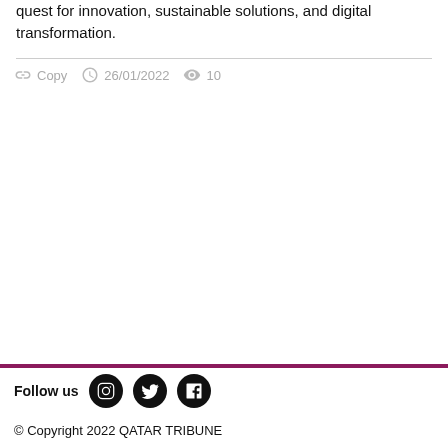quest for innovation, sustainable solutions, and digital transformation.
Copy  26/01/2022  10
Follow us  © Copyright 2022 QATAR TRIBUNE